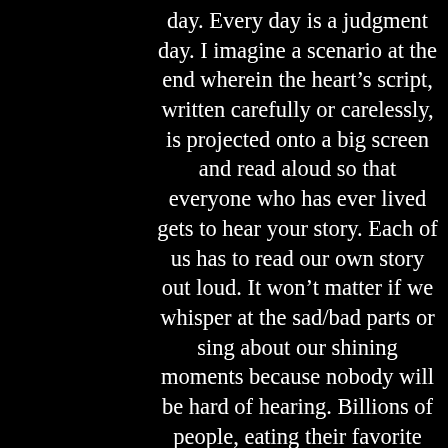day. Every day is a judgment day. I imagine a scenario at the end wherein the heart's script, written carefully or carelessly, is projected onto a big screen and read aloud so that everyone who has ever lived gets to hear your story. Each of us has to read our own story out loud. It won't matter if we whisper at the sad/bad parts or sing about our shining moments because nobody will be hard of hearing. Billions of people, eating their favorite food out of box lunches supplied by some heavenly chef,